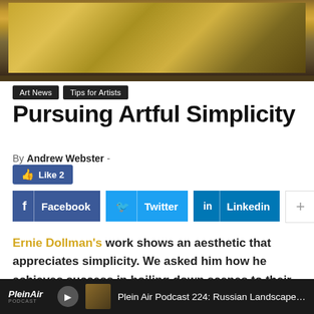[Figure (photo): Cropped bottom portion of a framed landscape painting with warm golden/brown tones in an ornate dark wooden frame]
Art News  Tips for Artists
Pursuing Artful Simplicity
By Andrew Webster -
👍 Like 2
f  Facebook   Twitter  in  Linkedin  +
Ernie Dollman's work shows an aesthetic that appreciates simplicity. We asked him how he achieves success in boiling down scenes to their essence. Here's what Dollman had to say.
Plein Air Podcast 224: Russian Landscape Painter Zufar Bikbo